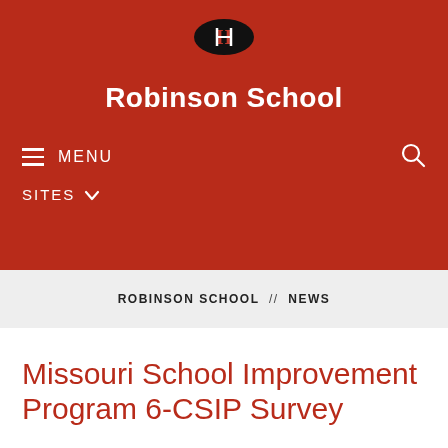[Figure (logo): Robinson School oval logo with H letter mark in black oval]
Robinson School
≡ MENU
SITES ∨
ROBINSON SCHOOL // NEWS
Missouri School Improvement Program 6-CSIP Survey